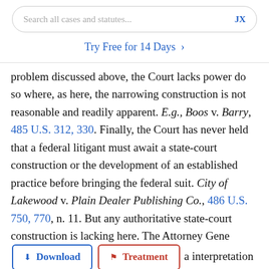Search all cases and statutes...   JX
Try Free for 14 Days >
problem discussed above, the Court lacks power do so where, as here, the narrowing construction is not reasonable and readily apparent. E.g., Boos v. Barry, 485 U.S. 312, 330. Finally, the Court has never held that a federal litigant must await a state-court construction or the development of an established practice before bringing the federal suit. City of Lakewood v. Plain Dealer Publishing Co., 486 U.S. 750, 770, n. 11. But any authoritative state-court construction is lacking here. The Attorney General has not sought a and has not obtained an authoritative interpretation from the Nebraska Supreme Court nor asked the federal courts to certify the